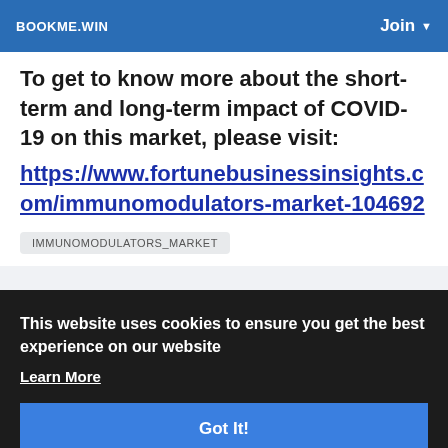BOOKME.WIN  Join ▾
To get to know more about the short-term and long-term impact of COVID-19 on this market, please visit: https://www.fortunebusinessinsights.com/immunomodulators-market-104692
IMMUNOMODULATORS_MARKET
This website uses cookies to ensure you get the best experience on our website  Learn More
Got It!
Become a Moderator!